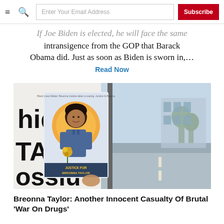≡  🔍  Enter Your Email Address  Subscribe
If Joe Biden is elected, he will face the same intransigence from the GOP that Barack Obama did. Just as soon as Biden is sworn in,…
Read Now
[Figure (photo): Photo of a Justice for Breonna Taylor flyer/poster being held up, showing her image in a memorial illustration style with orange halo, blue uniform, holding flowers, with text 'JUSTICE FOR BREONNA TAYLOR'. Background shows a street scene with road, trees, and a building.]
Breonna Taylor: Another Innocent Casualty Of Brutal 'War On Drugs'